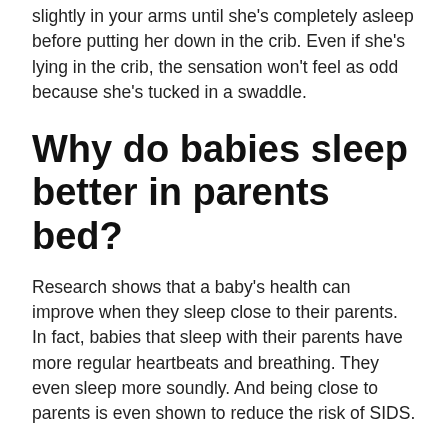slightly in your arms until she's completely asleep before putting her down in the crib. Even if she's lying in the crib, the sensation won't feel as odd because she's tucked in a swaddle.
Why do babies sleep better in parents bed?
Research shows that a baby's health can improve when they sleep close to their parents. In fact, babies that sleep with their parents have more regular heartbeats and breathing. They even sleep more soundly. And being close to parents is even shown to reduce the risk of SIDS.
Should I let baby nap on